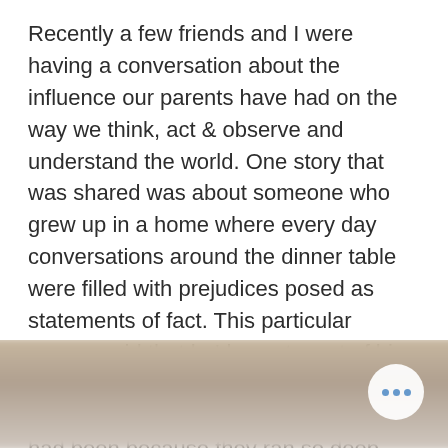Recently a few friends and I were having a conversation about the influence our parents have had on the way we think, act & observe and understand the world. One story that was shared was about someone who grew up in a home where every day conversations around the dinner table were filled with prejudices posed as statements of fact. This particular person said that he'd spent most of his adult years trying to overcome these ingrained prejudices and how hard it had been because they ran so deep, having been instilled early on in childhood.
[Figure (photo): Blurred photograph showing two people, partially visible at the bottom of the page, with a circular more/options button overlay in the bottom right corner.]